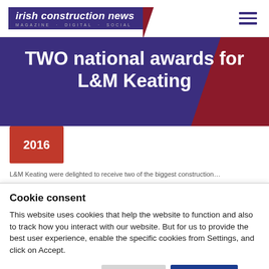[Figure (logo): Irish Construction News magazine logo — white italic text on dark purple background with red accent triangle, subtitle MAGAZINE · DIGITAL · SOCIAL]
TWO national awards for L&M Keating
2016
Cookie consent
This website uses cookies that help the website to function and also to track how you interact with our website. But for us to provide the best user experience, enable the specific cookies from Settings, and click on Accept.
Preferences ∨   Reject All   Accept All